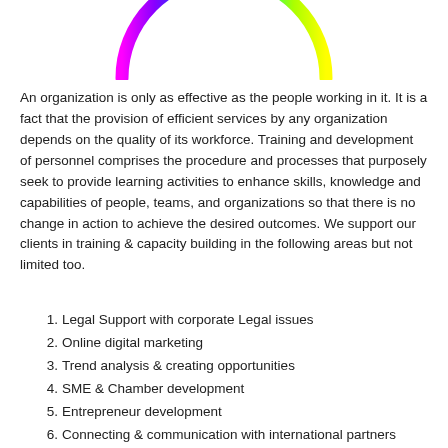[Figure (illustration): A rainbow-colored arc/ring at the top of the page, showing a spectrum from pink/magenta through purple, blue, cyan, green, yellow — like a partial circle logo.]
An organization is only as effective as the people working in it. It is a fact that the provision of efficient services by any organization depends on the quality of its workforce. Training and development of personnel comprises the procedure and processes that purposely seek to provide learning activities to enhance skills, knowledge and capabilities of people, teams, and organizations so that there is no change in action to achieve the desired outcomes. We support our clients in training & capacity building in the following areas but not limited too.
Legal Support with corporate Legal issues
Online digital marketing
Trend analysis & creating opportunities
SME & Chamber development
Entrepreneur development
Connecting & communication with international partners